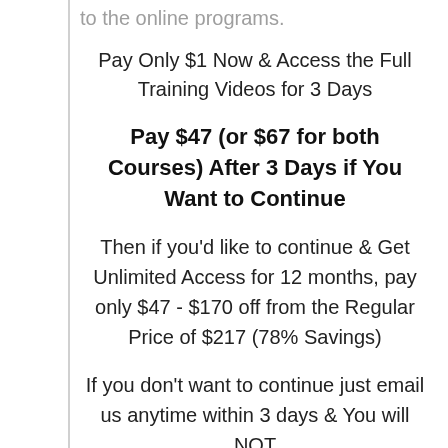to the online programs.
Pay Only $1 Now & Access the Full Training Videos for 3 Days
Pay $47 (or $67 for both Courses) After 3 Days if You Want to Continue
Then if you'd like to continue & Get Unlimited Access for 12 months, pay only $47 - $170 off from the Regular Price of $217 (78% Savings)
If you don't want to continue just email us anytime within 3 days & You will NOT